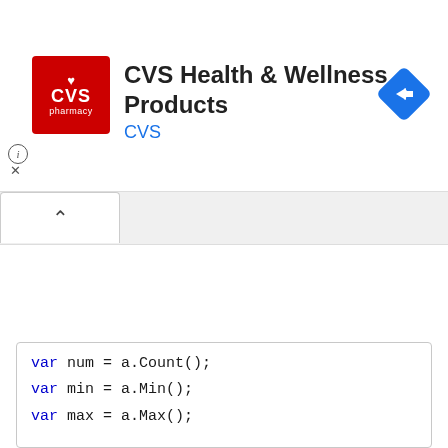[Figure (screenshot): CVS Health & Wellness Products advertisement banner with CVS pharmacy logo (red square), title text, and a blue navigation/direction icon on the right. Info (i) and close (x) icons at bottom left.]
CVS Health & Wellness Products
CVS
[Figure (screenshot): Browser tab/accordion area with an up-chevron (^) button on a white tab against a light grey background]
var num = a.Count();
var min = a.Min();
var max = a.Max();